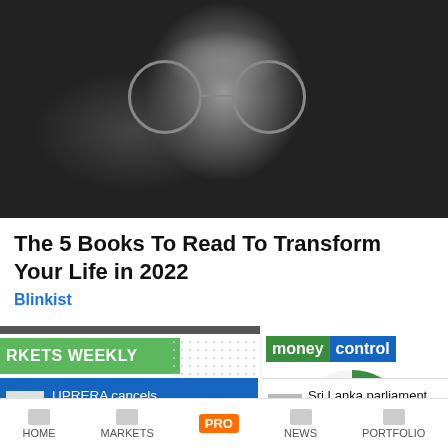[Figure (photo): Black and white portrait photo of a young man with round glasses, long hair, and stubble beard, looking slightly up]
The 5 Books To Read To Transform Your Life in 2022
Blinkist
[Figure (screenshot): Screenshot of a news/financial app showing Markets Weekly banner, Moneycontrol logo, UPRERA cancels registration of three news card, Sri Lanka parliament passes 2022 interim news card, and bottom navigation bar with HOME, MARKETS, PRO, NEWS, PORTFOLIO]
UPRERA cancels registration of three
Sri Lanka parliament passes 2022 interim
HOME    MARKETS    PRO    NEWS    PORTFOLIO